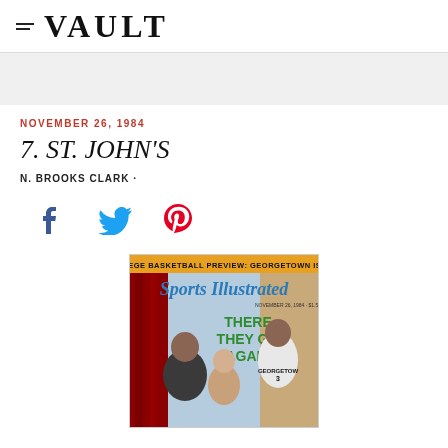VAULT
NOVEMBER 26, 1984
7. ST. JOHN'S
N. BROOKS CLARK ·
[Figure (illustration): Social sharing icons: Facebook, Twitter, Pinterest]
[Figure (photo): Sports Illustrated magazine cover dated November 26, 1984. Banner reads 'COLLEGE BASKETBALL PREVIEW: GEORGETOWN IS No.1'. Title text reads 'THERE THEY GO AGAIN'. Shows three people including a Georgetown basketball player.]